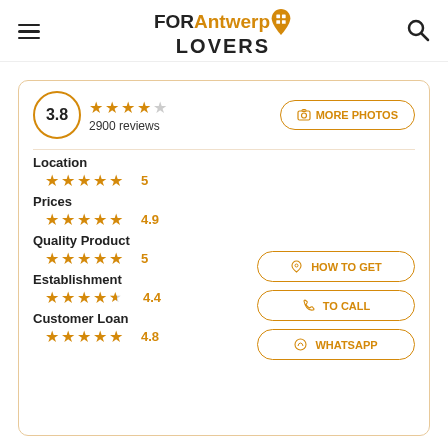FOR Antwerp LOVERS
[Figure (infographic): Rating summary: 3.8 overall score in circle, 4-4.5 stars, 2900 reviews, MORE PHOTOS button]
Location
★★★★★ 5
Prices
★★★★★ 4.9
Quality Product
★★★★★ 5
Establishment
★★★★½ 4.4
Customer Loan
★★★★★ 4.8
HOW TO GET
TO CALL
WHATSAPP